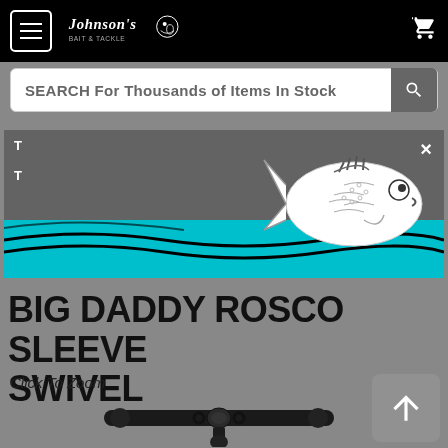[Figure (logo): Johnson's Bait & Tackle logo with fish skull graphic on black navigation bar]
SEARCH For Thousands of Items In Stock
[Figure (illustration): Popup banner overlay with teal wave and fish illustration, close button (x)]
BIG DADDY ROSCO SLEEVE SWIVEL
Click To Zoom
[Figure (photo): Black metal sleeve swivel fishing tackle product photo on gray background]